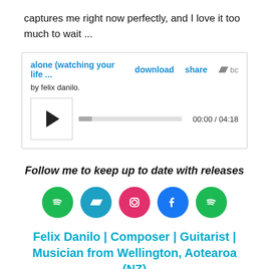captures me right now perfectly, and I love it too much to wait ...
[Figure (other): Embedded audio player widget for 'alone (watching your life ...' by felix danilo. Shows play button, progress bar at 00:00 / 04:18, download and share links, and Bandcamp logo.]
Follow me to keep up to date with releases
[Figure (infographic): Row of five social media icon circles: Spotify (green), Bandcamp (teal), Instagram (pink/magenta), Facebook (blue), Spotify (green)]
Felix Danilo | Composer | Guitarist | Musician from Wellington, Aotearoa (NZ)